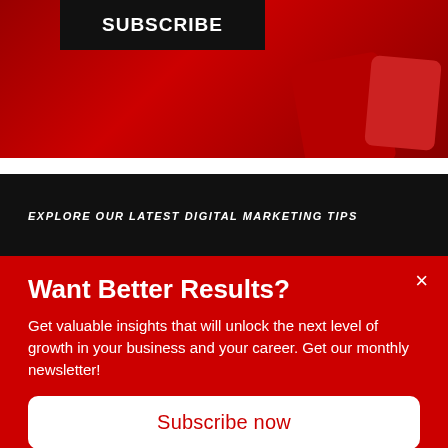[Figure (photo): Red background banner with a black box containing white bold uppercase text 'SUBSCRIBE', with red tablet/device shapes in the background]
[Figure (infographic): Black horizontal bar with white italic bold uppercase text 'EXPLORE OUR LATEST DIGITAL MARKETING TIPS']
[Figure (screenshot): Partial dark navy blue banner image cropped at bottom of page]
Want Better Results?
Get valuable insights that will unlock the next level of growth in your business and your career. Get our monthly newsletter!
Subscribe now